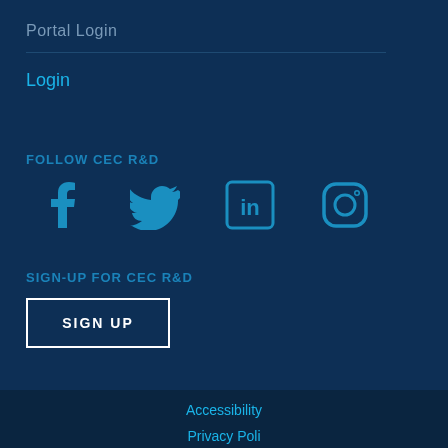Portal Login
Login
FOLLOW CEC R&D
[Figure (other): Social media icons: Facebook, Twitter, LinkedIn, Instagram in teal/cyan color]
SIGN-UP FOR CEC R&D
SIGN UP
Accessibility
Privacy Poli...